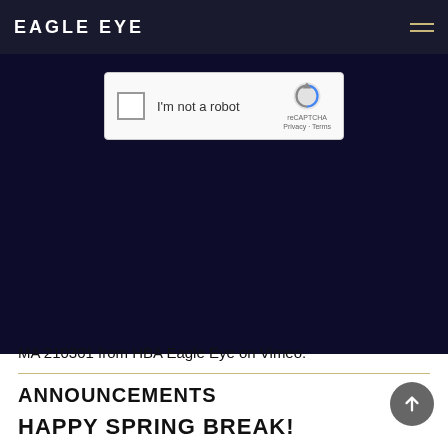EAGLE EYE
[Figure (screenshot): Dark navy blue video player area showing a reCAPTCHA widget with checkbox labeled 'I'm not a robot' and reCAPTCHA branding]
MA 210301 from HBA Eagle Eye on Vimeo.
ANNOUNCEMENTS
HAPPY SPRING BREAK!